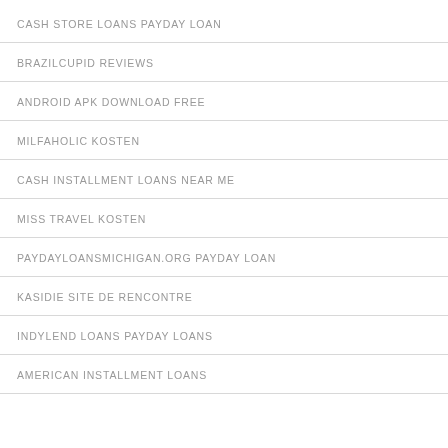CASH STORE LOANS PAYDAY LOAN
BRAZILCUPID REVIEWS
ANDROID APK DOWNLOAD FREE
MILFAHOLIC KOSTEN
CASH INSTALLMENT LOANS NEAR ME
MISS TRAVEL KOSTEN
PAYDAYLOANSMICHIGAN.ORG PAYDAY LOAN
KASIDIE SITE DE RENCONTRE
INDYLEND LOANS PAYDAY LOANS
AMERICAN INSTALLMENT LOANS